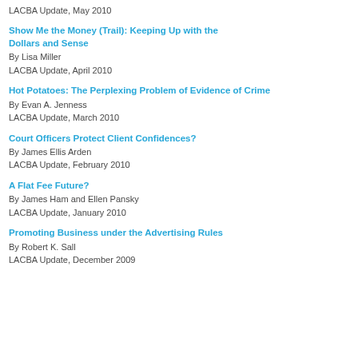LACBA Update, May 2010
Show Me the Money (Trail): Keeping Up with the Dollars and Sense
By Lisa Miller
LACBA Update, April 2010
Hot Potatoes: The Perplexing Problem of Evidence of Crime
By Evan A. Jenness
LACBA Update, March 2010
Court Officers Protect Client Confidences?
By James Ellis Arden
LACBA Update, February 2010
A Flat Fee Future?
By James Ham and Ellen Pansky
LACBA Update, January 2010
Promoting Business under the Advertising Rules
By Robert K. Sall
LACBA Update, December 2009